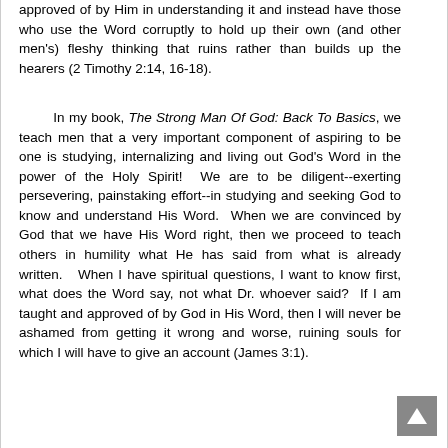approved of by Him in understanding it and instead have those who use the Word corruptly to hold up their own (and other men's) fleshy thinking that ruins rather than builds up the hearers (2 Timothy 2:14, 16-18).
In my book, The Strong Man Of God: Back To Basics, we teach men that a very important component of aspiring to be one is studying, internalizing and living out God's Word in the power of the Holy Spirit!  We are to be diligent--exerting persevering, painstaking effort--in studying and seeking God to know and understand His Word.  When we are convinced by God that we have His Word right, then we proceed to teach others in humility what He has said from what is already written.   When I have spiritual questions, I want to know first, what does the Word say, not what Dr. whoever said?  If I am taught and approved of by God in His Word, then I will never be ashamed from getting it wrong and worse, ruining souls for which I will have to give an account (James 3:1).